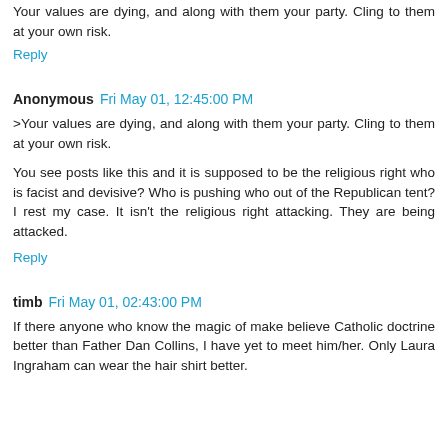Your values are dying, and along with them your party. Cling to them at your own risk.
Reply
Anonymous  Fri May 01, 12:45:00 PM
>Your values are dying, and along with them your party. Cling to them at your own risk.
You see posts like this and it is supposed to be the religious right who is facist and devisive? Who is pushing who out of the Republican tent? I rest my case. It isn't the religious right attacking. They are being attacked.
Reply
timb  Fri May 01, 02:43:00 PM
If there anyone who know the magic of make believe Catholic doctrine better than Father Dan Collins, I have yet to meet him/her. Only Laura Ingraham can wear the hair shirt better.